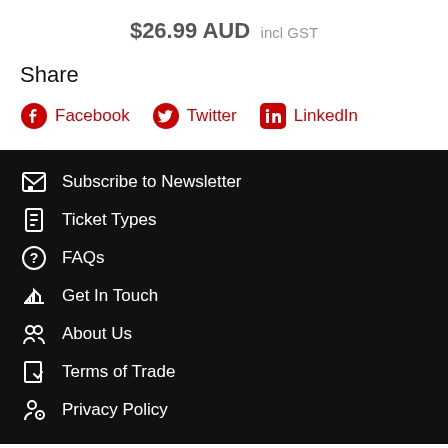$26.99 AUD incl GST
Share
Facebook
Twitter
LinkedIn
Subscribe to Newsletter
Ticket Types
FAQs
Get In Touch
About Us
Terms of Trade
Privacy Policy